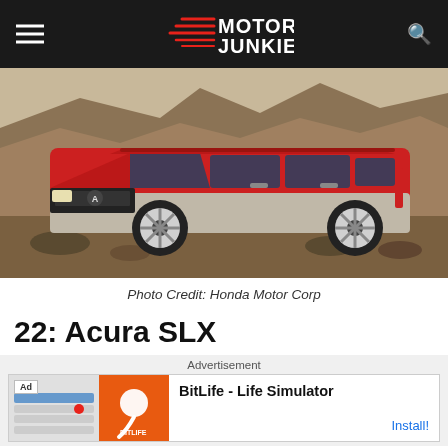Motor Junkie
[Figure (photo): Red Acura SLX SUV photographed outdoors on rocky terrain with brown cliffs in the background. The vehicle is a two-tone red and silver/grey SUV facing left.]
Photo Credit: Honda Motor Corp
22: Acura SLX
Advertisement
[Figure (screenshot): Advertisement for BitLife - Life Simulator app. Shows an Ad badge on the left with app screenshot imagery and orange/red background with a white sperm cell logo. Right side shows app name and Install button.]